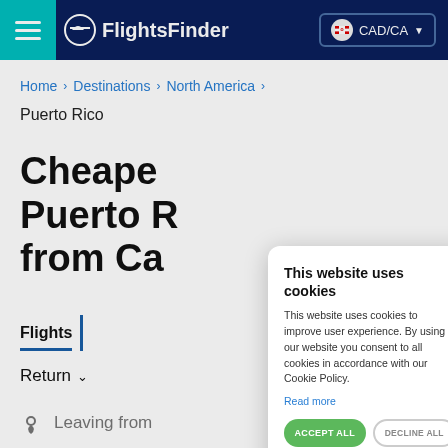FlightsFinder CAD/CA
Home > Destinations > North America >
Puerto Rico
Cheape… Puerto R… from Ca…
Flights
Return ∨
Leaving from
This website uses cookies
This website uses cookies to improve user experience. By using our website you consent to all cookies in accordance with our Cookie Policy.
Read more
ACCEPT ALL
DECLINE ALL
SHOW DETAILS